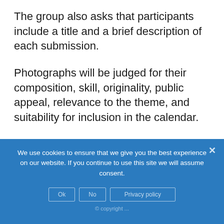The group also asks that participants include a title and a brief description of each submission.
Photographs will be judged for their composition, skill, originality, public appeal, relevance to the theme, and suitability for inclusion in the calendar.
A panel of judges will select 13 winning photos; 12 for each month and one cover
We use cookies to ensure that we give you the best experience on our website. If you continue to use this site we will assume consent.